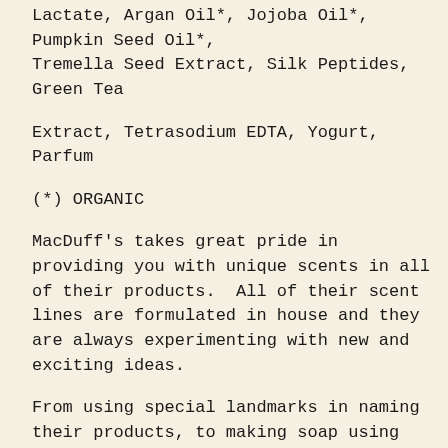Lactate, Argan Oil*, Jojoba Oil*, Pumpkin Seed Oil*, Tremella Seed Extract, Silk Peptides, Green Tea
Extract, Tetrasodium EDTA, Yogurt, Parfum
(*) ORGANIC
MacDuff's takes great pride in providing you with unique scents in all of their products.  All of their scent lines are formulated in house and they are always experimenting with new and exciting ideas.
From using special landmarks in naming their products, to making soap using fresh mountain water from Kananaskis Provincial Park, MacDuff's finds inspiration in their love of the outdoors and Alberta.